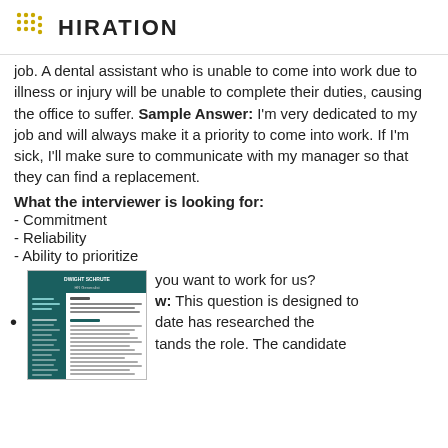HIRATION
job. A dental assistant who is unable to come into work due to illness or injury will be unable to complete their duties, causing the office to suffer. Sample Answer: I'm very dedicated to my job and will always make it a priority to come into work. If I'm sick, I'll make sure to communicate with my manager so that they can find a replacement.
What the interviewer is looking for:
- Commitment
- Reliability
- Ability to prioritize
[Figure (other): A sample resume thumbnail showing 'DWIGHT SCHRUTE, HR Generalist' with teal header and body content]
you want to work for us? w: This question is designed to date has researched the tands the role. The candidate